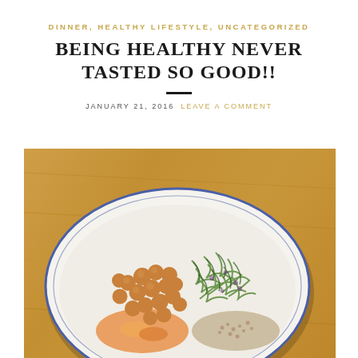DINNER, HEALTHY LIFESTYLE, UNCATEGORIZED
BEING HEALTHY NEVER TASTED SO GOOD!!
JANUARY 21, 2016   LEAVE A COMMENT
[Figure (photo): A white plate with a blue rim on a wooden table, filled with chickpeas, spiralized zucchini with greens, quinoa, and other healthy food items.]